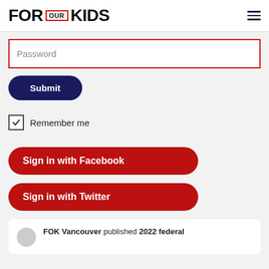FOR OUR KIDS
[Figure (screenshot): Password input field with red border]
[Figure (screenshot): Submit button, dark navy rounded pill]
[Figure (screenshot): Checked checkbox with Remember me label]
[Figure (screenshot): Sign in with Facebook button, red rounded pill]
[Figure (screenshot): Sign in with Twitter button, red rounded pill]
FOK Vancouver published 2022 federal